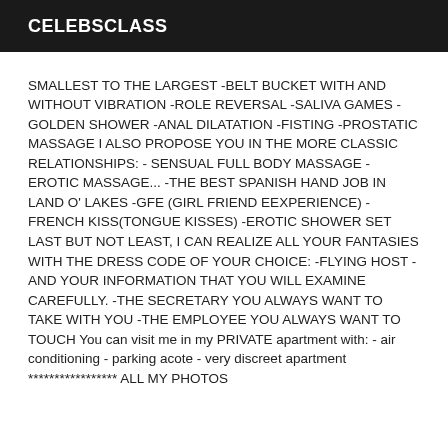CELEBSCLASS
SMALLEST TO THE LARGEST -BELT BUCKET WITH AND WITHOUT VIBRATION -ROLE REVERSAL -SALIVA GAMES -GOLDEN SHOWER -ANAL DILATATION -FISTING -PROSTATIC MASSAGE I ALSO PROPOSE YOU IN THE MORE CLASSIC RELATIONSHIPS: - SENSUAL FULL BODY MASSAGE - EROTIC MASSAGE... -THE BEST SPANISH HAND JOB IN LAND O' LAKES -GFE (GIRL FRIEND EEXPERIENCE) -FRENCH KISS(TONGUE KISSES) -EROTIC SHOWER SET LAST BUT NOT LEAST, I CAN REALIZE ALL YOUR FANTASIES WITH THE DRESS CODE OF YOUR CHOICE: -FLYING HOST -AND YOUR INFORMATION THAT YOU WILL EXAMINE CAREFULLY. -THE SECRETARY YOU ALWAYS WANT TO TAKE WITH YOU -THE EMPLOYEE YOU ALWAYS WANT TO TOUCH You can visit me in my PRIVATE apartment with: - air conditioning - parking acote - very discreet apartment ***************** ALL MY PHOTOS